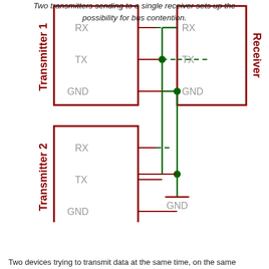[Figure (circuit-diagram): Schematic showing two transmitters (Transmitter 1 and Transmitter 2) connected to a single Receiver. Each device box shows RX, TX, and GND pins. TX lines from both transmitters connect via a shared green bus line to the Receiver RX pin. GND lines from both transmitters and the receiver share a common ground node with a GND symbol at bottom. Dashed lines represent unconnected or floating connections.]
Two transmitters sending to a single receiver sets up the possibility for bus contention.
Two devices trying to transmit data at the same time, on the same